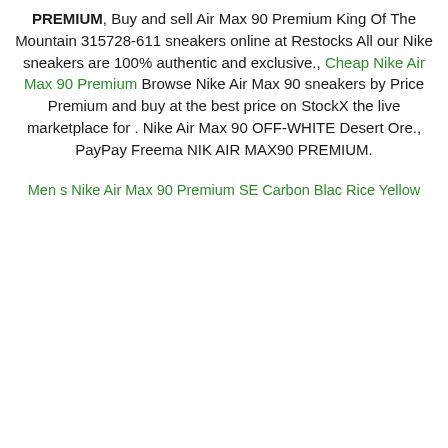PREMIUM, Buy and sell Air Max 90 Premium King Of The Mountain 315728-611 sneakers online at Restocks All our Nike sneakers are 100% authentic and exclusive., Cheap Nike Air Max 90 Premium Browse Nike Air Max 90 sneakers by Price Premium and buy at the best price on StockX the live marketplace for . Nike Air Max 90 OFF-WHITE Desert Ore., PayPay Freema NIK AIR MAX90 PREMIUM.
Men s Nike Air Max 90 Premium SE Carbon Blac Rice Yellow